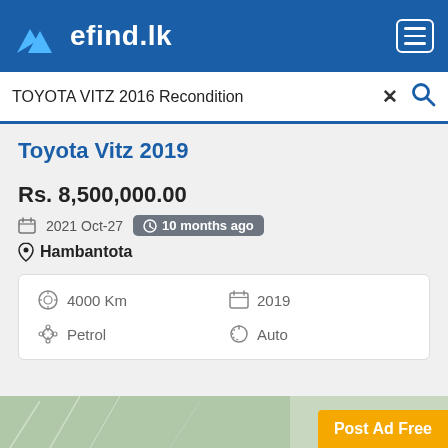efind.lk
TOYOTA VITZ 2016 Recondition
Toyota Vitz 2019
Rs. 8,500,000.00
2021 Oct-27   10 months ago
Hambantota
4000 Km   2019   Petrol   Auto
Post Ad Free